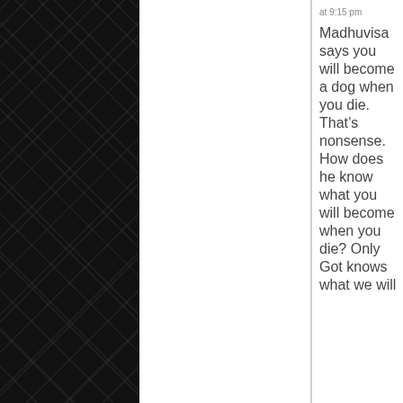at 9:15 pm
Madhuvisa says you will become a dog when you die. That’s nonsense. How does he know what you will become when you die? Only Got knows what we will